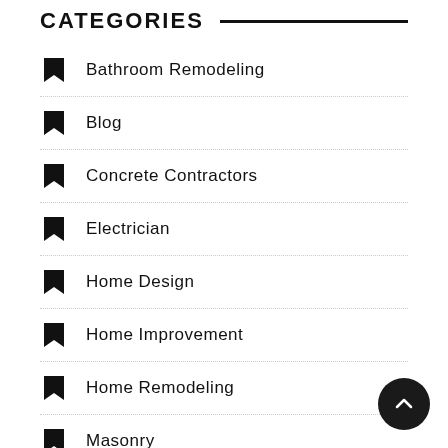CATEGORIES
Bathroom Remodeling
Blog
Concrete Contractors
Electrician
Home Design
Home Improvement
Home Remodeling
Masonry